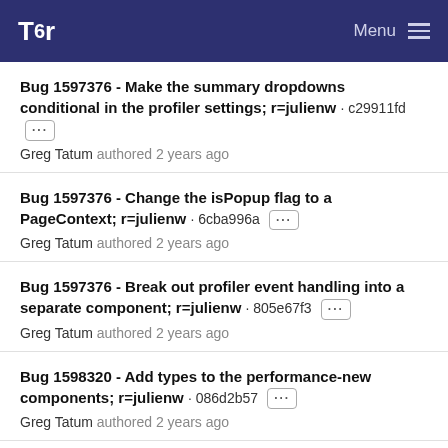Tor | Menu
Bug 1597376 - Make the summary dropdowns conditional in the profiler settings; r=julienw · c29911fd
Greg Tatum authored 2 years ago
Bug 1597376 - Change the isPopup flag to a PageContext; r=julienw · 6cba996a
Greg Tatum authored 2 years ago
Bug 1597376 - Break out profiler event handling into a separate component; r=julienw · 805e67f3
Greg Tatum authored 2 years ago
Bug 1598320 - Add types to the performance-new components; r=julienw · 086d2b57
Greg Tatum authored 2 years ago
Bug 1597373 - Create a minimal about:profiling page; r=jdescottes,mconley · 246f170a